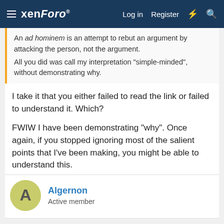xenForo — Log in  Register
An ad hominem is an attempt to rebut an argument by attacking the person, not the argument.
All you did was call my interpretation "simple-minded", without demonstrating why.
I take it that you either failed to read the link or failed to understand it. Which?
FWIW I have been demonstrating "why". Once again, if you stopped ignoring most of the salient points that I've been making, you might be able to understand this.
Algernon
Active member
Jan 18, 2022  #314
Eightcrackers said: